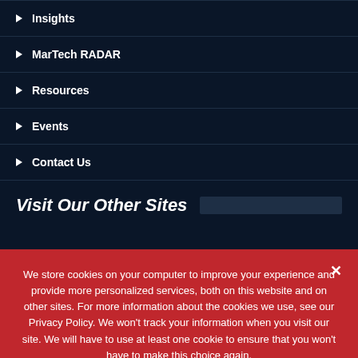▶ Insights
▶ MarTech RADAR
▶ Resources
▶ Events
▶ Contact Us
Visit Our Other Sites
We store cookies on your computer to improve your experience and provide more personalized services, both on this website and on other sites. For more information about the cookies we use, see our Privacy Policy. We won't track your information when you visit our site. We will have to use at least one cookie to ensure that you won't have to make this choice again.
Accept   Privacy Policy